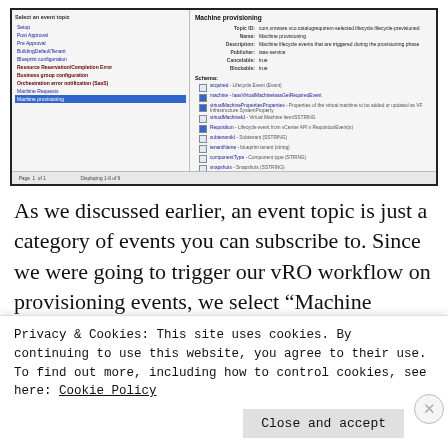[Figure (screenshot): Screenshot of a vRealize Automation or similar UI showing event topic selection on the left panel and 'Machine provisioning' topic details on the right, including Topic ID, Name, Description, Publisher, Cancelable, Blockable fields, and a list of schema items.]
As we discussed earlier, an event topic is just a category of events you can subscribe to. Since we were going to trigger our vRO workflow on provisioning events, we select "Machine provisioning" from the list of topics. Once we
Privacy & Cookies: This site uses cookies. By continuing to use this website, you agree to their use.
To find out more, including how to control cookies, see here: Cookie Policy
Close and accept